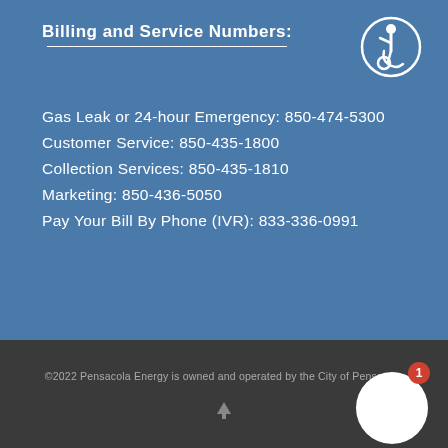Billing and Service Numbers:
Gas Leak or 24-hour Emergency: 850-474-5300
Customer Service: 850-435-1800
Collection Services: 850-435-1810
Marketing: 850-436-5050
Pay Your Bill By Phone (IVR): 833-336-0991
[Figure (illustration): Accessibility icon — person in wheelchair inside a circle, white on blue]
©2022 Pensacola Energy is owned and operated by the City of Pensacola